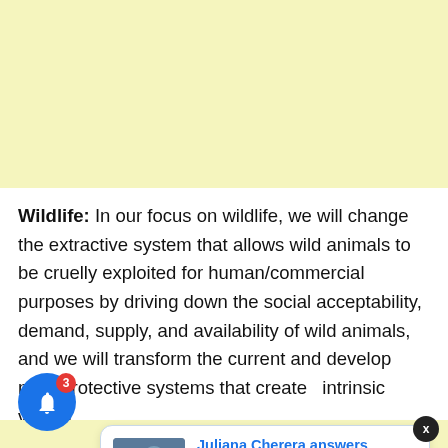[Figure (other): Yellow advertisement banner placeholder at top of page]
Wildlife: In our focus on wildlife, we will change the extractive system that allows wild animals to be cruelly exploited for human/commercial purposes by driving down the social acceptability, demand, supply, and availability of wild animals, and we will transform the current and develop new, protective systems that create intrinsic value f...
[Figure (other): Notification bell icon (blue circle with 3 badge) and a popup news card showing a photo of people in suits with headline 'Juliana Cherera answers Chebukati in new fight over' and timestamp '2 days ago']